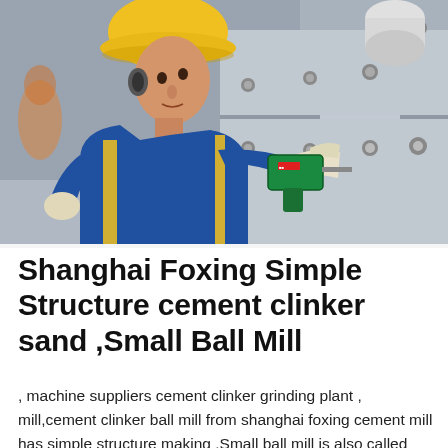[Figure (photo): A male worker wearing a yellow hard hat, blue and yellow work jacket, and white gloves, holding a power drill/electric tool while working on a large metal industrial machine (ball mill) with bolts visible. Industrial factory background.]
Shanghai Foxing Simple Structure cement clinker sand ,Small Ball Mill
, machine suppliers cement clinker grinding plant , mill,cement clinker ball mill from shanghai foxing cement mill has simple structure making .Small ball mill is also called mini ball mill, which is mainly used in